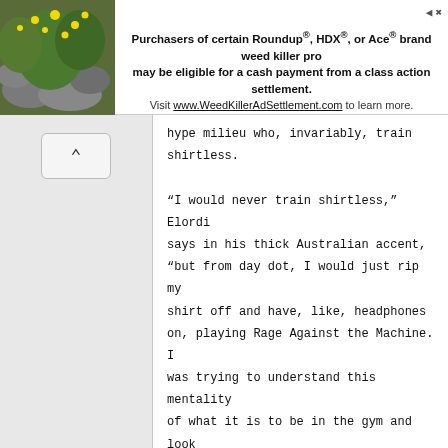[Figure (screenshot): Advertisement banner at top of page. Left side shows a photo of yellow flowers/plants against a stone background. Right side contains ad text: 'Purchasers of certain Roundup®, HDX®, or Ace® brand weed killer products may be eligible for a cash payment from a class action settlement. Visit www.WeedKillerAdSettlement.com to learn more.' With close/arrow buttons top right.]
hype milieu who, invariably, train shirtless.

"I would never train shirtless," Elordi says in his thick Australian accent, "but from day dot, I would just rip my shirt off and have, like, headphones on, playing Rage Against the Machine. I was trying to understand this mentality of what it is to be in the gym and look at yourself in the mirror and be like, Faaaack, I look good."

This is not Elordi's typical vibe. When we meet at a Blue Bottle Coffee in Malibu, he seems to be trying very hard